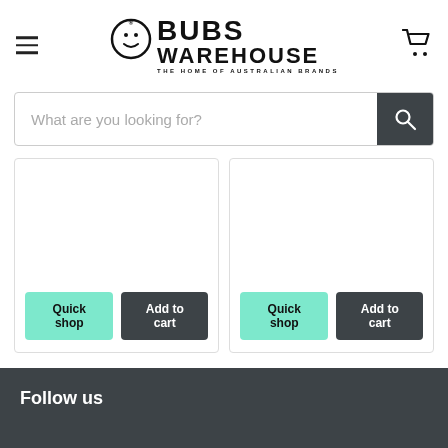[Figure (logo): Bubs Warehouse logo - circular smiley face icon with text BUBS WAREHOUSE THE HOME OF AUSTRALIAN BRANDS]
[Figure (other): Search bar with placeholder text 'What are you looking for?' and a dark search button with magnifying glass icon]
[Figure (other): Two product cards side by side, each with Quick shop (mint green) and Add to cart (dark) buttons]
Follow us